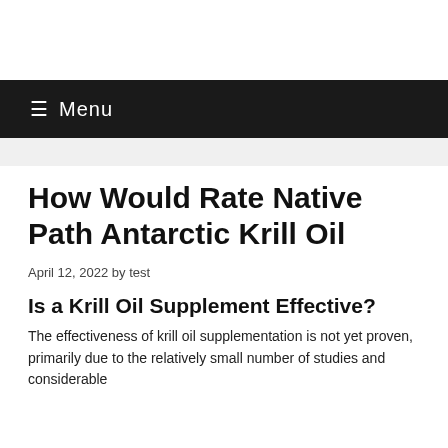Menu
How Would Rate Native Path Antarctic Krill Oil
April 12, 2022 by test
Is a Krill Oil Supplement Effective?
The effectiveness of krill oil supplementation is not yet proven, primarily due to the relatively small number of studies and considerable